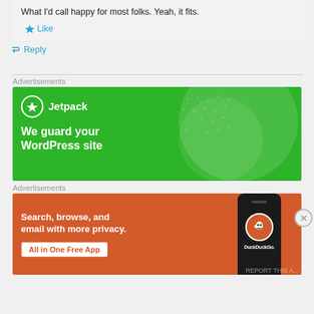What I'd call happy for most folks. Yeah, it fits.
★ Like
↳ Reply
Advertisements
[Figure (illustration): Jetpack advertisement banner on green background with circle decoration. Shows Jetpack logo (lightning bolt in circle) and text 'Jetpack' followed by tagline 'We guard your WordPress site']
Advertisements
[Figure (illustration): DuckDuckGo advertisement banner on orange/brown background. Shows text 'Search, browse, and email with more privacy.' with 'All in One Free App' button and DuckDuckGo branding with phone mockup.]